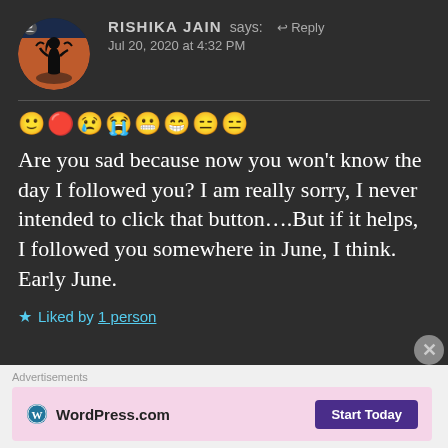RISHIKA JAIN says: ↩ Reply
Jul 20, 2020 at 4:32 PM
🙂🔴😢😢😁😁😑😑 Are you sad because now you won't know the day I followed you? I am really sorry, I never intended to click that button....But if it helps, I followed you somewhere in June, I think. Early June.
★ Liked by 1 person
Advertisements
WordPress.com  Start Today